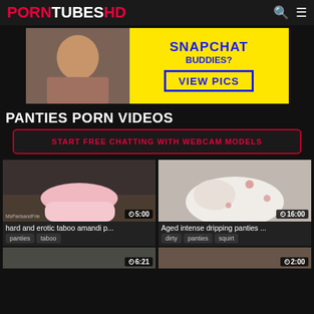PORNTUBES HD
[Figure (photo): Advertisement banner: woman photo on left, yellow background on right with SNAPCHAT BUDDIES? VIEW PICS text]
PANTIES PORN VIDEOS
START FREE CHATTING WITH WEBCAM MODELS
[Figure (photo): Video thumbnail: panties close-up, duration 5:00, watermark MsParisandFrie]
hard and erotic taboo amandi p...
panties  taboo
[Figure (photo): Video thumbnail: panties close-up white with floral pattern, duration 16:00]
Aged intense dripping panties ...
dirty  panties  squirt
[Figure (photo): Partially visible video thumbnail, duration 6:21]
[Figure (photo): Partially visible video thumbnail, duration 2:00]